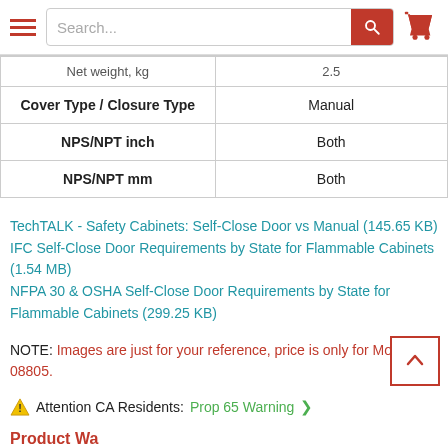[Figure (screenshot): Website navigation bar with hamburger menu, search box with red search button, and red shopping cart icon]
| Net weight, kg | 2.5 |
| Cover Type / Closure Type | Manual |
| NPS/NPT inch | Both |
| NPS/NPT mm | Both |
TechTALK - Safety Cabinets: Self-Close Door vs Manual (145.65 KB)
IFC Self-Close Door Requirements by State for Flammable Cabinets (1.54 MB)
NFPA 30 & OSHA Self-Close Door Requirements by State for Flammable Cabinets (299.25 KB)
NOTE: Images are just for your reference, price is only for Model #: 08805.
Attention CA Residents: Prop 65 Warning >
Product Warranty